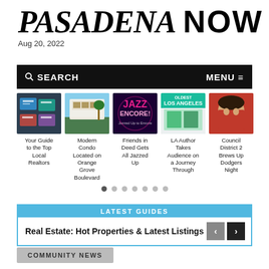PASADENA NOW
Aug 20, 2022
🔍 SEARCH   MENU ≡
[Figure (screenshot): Carousel of 5 article thumbnails: 1) Your Guide to the Top Local Realtors, 2) Modern Condo Located on Orange Grove Boulevard, 3) Friends in Deed Gets All Jazzed Up, 4) LA Author Takes Audience on a Journey Through, 5) Council District 2 Brews Up Dodgers Night]
LATEST GUIDES
Real Estate: Hot Properties & Latest Listings
COMMUNITY NEWS